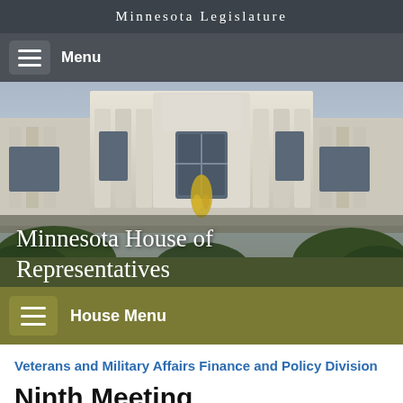Minnesota Legislature
Menu
[Figure (photo): Photo of the Minnesota State Capitol building dome, white neoclassical architecture with columns and arched windows, with a golden statue visible and green trees below against a blue-grey sky. Overlaid text reads: Minnesota House of Representatives]
House Menu
Veterans and Military Affairs Finance and Policy Division
Ninth Meeting